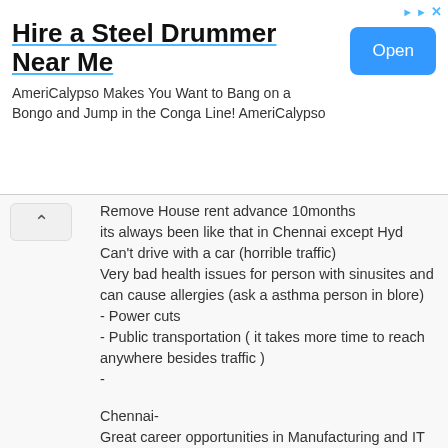[Figure (screenshot): Advertisement banner: Hire a Steel Drummer Near Me, with Open button]
Remove House rent advance 10months
its always been like that in Chennai except Hyd
Can't drive with a car (horrible traffic)
Very bad health issues for person with sinusites and can cause allergies (ask a asthma person in blore)
- Power cuts
- Public transportation ( it takes more time to reach anywhere besides traffic )
-
Chennai-
Great career opportunities in Manufacturing and IT as well
Rent is cheap compared to Blr comparable to Hyd
lots of tourist places in the city
Have you heard of theme parks
http://www.chennaihub.com/amusement-parks-